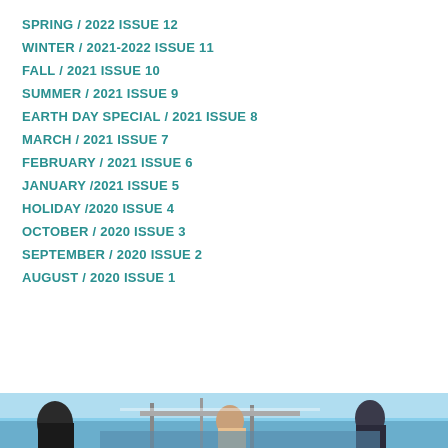SPRING / 2022 ISSUE 12
WINTER / 2021-2022 ISSUE 11
FALL / 2021 ISSUE 10
SUMMER / 2021 ISSUE 9
EARTH DAY SPECIAL / 2021 ISSUE 8
MARCH / 2021 ISSUE 7
FEBRUARY / 2021 ISSUE 6
JANUARY /2021 ISSUE 5
HOLIDAY /2020 ISSUE 4
OCTOBER / 2020 ISSUE 3
SEPTEMBER / 2020 ISSUE 2
AUGUST / 2020 ISSUE 1
[Figure (photo): Partial photo strip at the bottom of the page showing people on what appears to be a boat or outdoor setting]